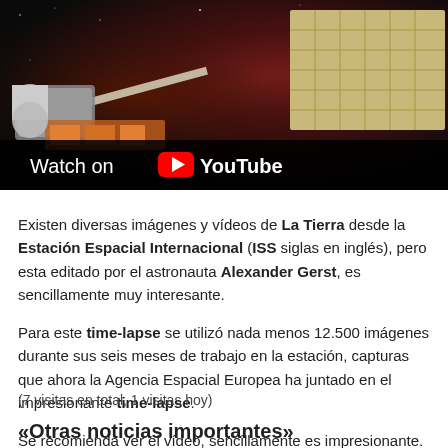[Figure (screenshot): YouTube video thumbnail showing a spacecraft/ISS with solar panels against a dark space background with nebula colors. Overlay text reads 'Watch on YouTube' with the YouTube play button icon.]
Existen diversas imágenes y vídeos de La Tierra desde la Estación Espacial Internacional (ISS siglas en inglés), pero esta editado por el astronauta Alexander Gerst, es sencillamente muy interesante.
Para este time-lapse se utilizó nada menos 12.500 imágenes durante sus seis meses de trabajo en la estación, capturas que ahora la Agencia Espacial Europea ha juntado en el impresionante time-lapse.
Se recomienda ver el vídeo, sencillamente es impresionante.
(7 visitas en total, 1 visitas hoy)
«Otras noticias importantes»